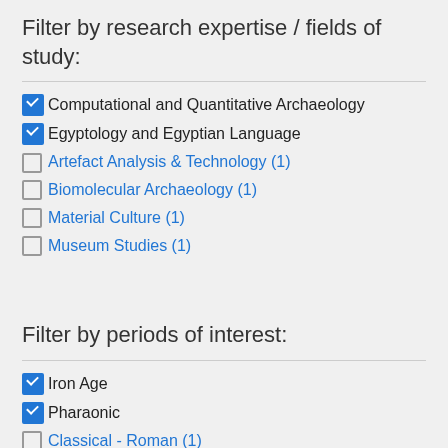Filter by research expertise / fields of study:
Computational and Quantitative Archaeology (checked)
Egyptology and Egyptian Language (checked)
Artefact Analysis & Technology (1)
Biomolecular Archaeology (1)
Material Culture (1)
Museum Studies (1)
Filter by periods of interest:
Iron Age (checked)
Pharaonic (checked)
Classical - Roman (1)
Copper/Bronze Age (1)
Neolithic (1)